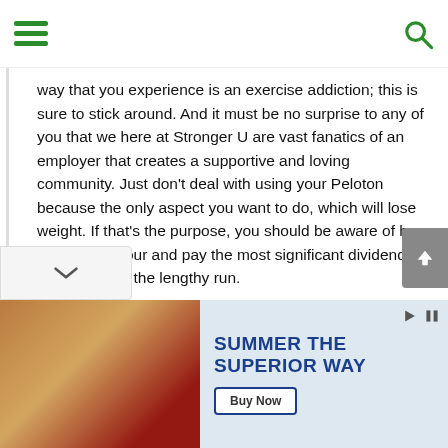Navigation bar with hamburger menu and search icon
way that you experience is an exercise addiction; this is sure to stick around. And it must be no surprise to any of you that we here at Stronger U are vast fanatics of an employer that creates a supportive and loving community. Just don't deal with using your Peloton because the only aspect you want to do, which will lose weight. If that's the purpose, you should be aware of how a lot you devour and pay the most significant dividends for you inside the lengthy run.
[Figure (screenshot): Advertisement banner: 'SUMMER THE SUPERIOR WAY' with Buy Now button, showing drinks/beer bottles image on left side]